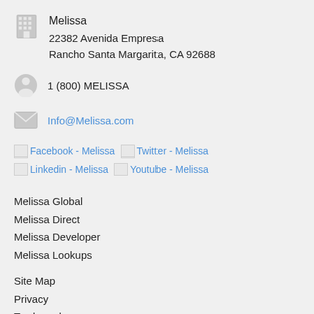Melissa
22382 Avenida Empresa
Rancho Santa Margarita, CA 92688
1 (800) MELISSA
Info@Melissa.com
Facebook - Melissa  Twitter - Melissa  Linkedin - Melissa  Youtube - Melissa
Melissa Global
Melissa Direct
Melissa Developer
Melissa Lookups
Site Map
Privacy
Trademarks